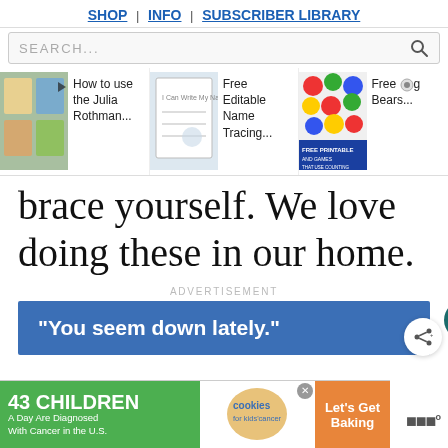SHOP | INFO | SUBSCRIBER LIBRARY
SEARCH...
[Figure (screenshot): Carousel of article thumbnails: 'How to use the Julia Rothman...', 'Free Editable Name Tracing...', 'Free [Counting] Bears...']
brace yourself. We love doing these in our home.
ADVERTISEMENT
[Figure (screenshot): Advertisement banner with blue background and white text: "You seem down lately."]
[Figure (screenshot): Bottom advertisement: '43 CHILDREN A Day Are Diagnosed With Cancer in the U.S. cookies for kids' cancer Let's Get Baking']